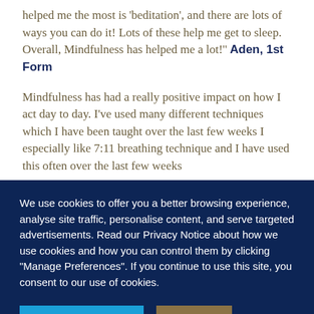helped me the most is 'beditation', and there are lots of ways you can do it! Lots of these help me get to sleep. Overall, Mindfulness has helped me a lot!'' Aden, 1st Form
Mindfulness has had a really positive impact on how I act day to day. I've used many different techniques which I have been taught over the last few weeks I especially like 7:11 breathing technique and I have used this often over the last few weeks
We use cookies to offer you a better browsing experience, analyse site traffic, personalise content, and serve targeted advertisements. Read our Privacy Notice about how we use cookies and how you can control them by clicking "Manage Preferences". If you continue to use this site, you consent to our use of cookies.